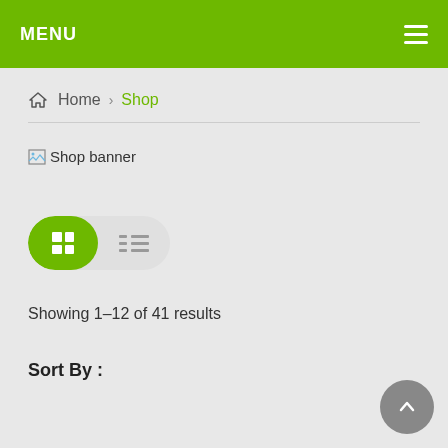MENU
Home > Shop
[Figure (screenshot): Broken image placeholder labeled 'Shop banner']
[Figure (other): View toggle buttons: grid view (active, green) and list view]
Showing 1–12 of 41 results
Sort By :